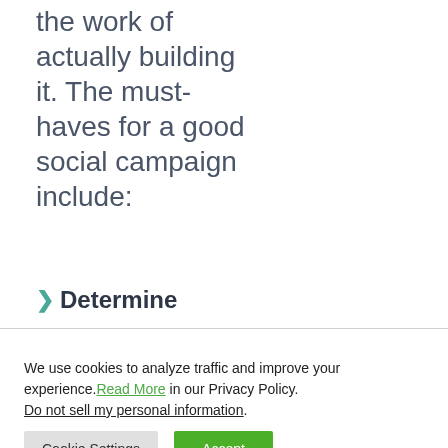the work of actually building it. The must-haves for a good social campaign include:
Determine
We use cookies to analyze traffic and improve your experience. Read More in our Privacy Policy. Do not sell my personal information.